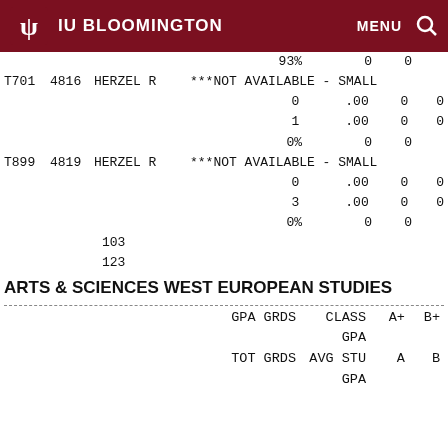IU BLOOMINGTON  MENU
| Course | Sec | Instructor | Status | GPA GRDS | A+ | B+ |
| --- | --- | --- | --- | --- | --- | --- |
|  |  |  | 93% | 0 | 0 |
| T701 | 4816 | HERZEL R | ***NOT AVAILABLE - SMALL |  |  |  |
|  |  |  | 0 | .00 | 0 | 0 |
|  |  |  | 1 | .00 | 0 | 0 |
|  |  |  | 0% | 0 | 0 |
| T899 | 4819 | HERZEL R | ***NOT AVAILABLE - SMALL |  |  |  |
|  |  |  | 0 | .00 | 0 | 0 |
|  |  |  | 3 | .00 | 0 | 0 |
|  |  |  | 0% | 0 | 0 |
|  |  | 103 |  |  |  |  |
|  |  | 123 |  |  |  |  |
ARTS & SCIENCES WEST EUROPEAN STUDIES
| GPA GRDS | CLASS GPA | A+ | B+ |
| --- | --- | --- | --- |
| GPA GRDS | CLASS GPA | A+ | B+ |
| TOT GRDS | AVG STU GPA | A | B |